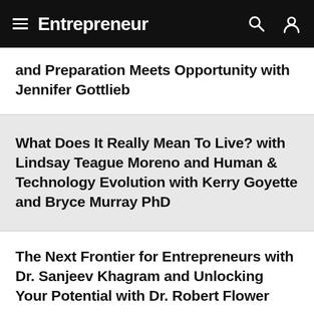Entrepreneur
and Preparation Meets Opportunity with Jennifer Gottlieb
What Does It Really Mean To Live? with Lindsay Teague Moreno and Human & Technology Evolution with Kerry Goyette and Bryce Murray PhD
The Next Frontier for Entrepreneurs with Dr. Sanjeev Khagram and Unlocking Your Potential with Dr. Robert Flower